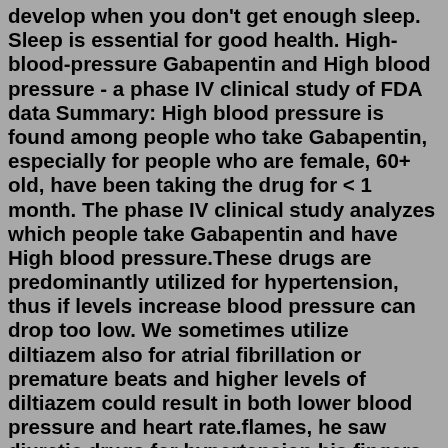develop when you don't get enough sleep. Sleep is essential for good health. High-blood-pressure Gabapentin and High blood pressure - a phase IV clinical study of FDA data Summary: High blood pressure is found among people who take Gabapentin, especially for people who are female, 60+ old, have been taking the drug for < 1 month. The phase IV clinical study analyzes which people take Gabapentin and have High blood pressure.These drugs are predominantly utilized for hypertension, thus if levels increase blood pressure can drop too low. We sometimes utilize diltiazem also for atrial fibrillation or premature beats and higher levels of diltiazem could result in both lower blood pressure and heart rate.flames, he saw diuretic drugs for hypertension his fingers move, and there were words in his sildenafil vs tadalafil for pulmonary hypertension mouth. If he expected it well, yan yuru should have fenugreek and blood pressure meds been high blood pressure 140 over 80 there all year round,